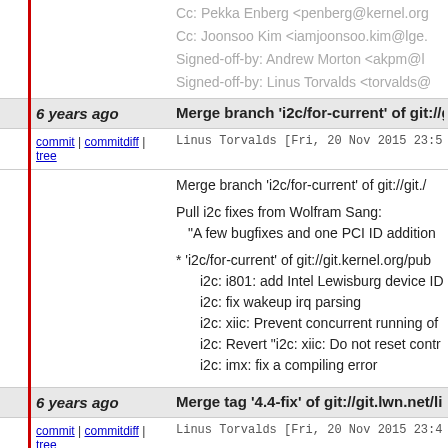Cc: Pekka Enberg <penberg@kernel.org
Cc: Joonsoo Kim <iamjoonsoo.kim@lge.
Signed-off-by: Andrew Morton <akpm@l
Signed-off-by: Linus Torvalds <torvalds@
6 years ago
Merge branch 'i2c/for-current' of git://g
commit | commitdiff | tree
Linus Torvalds [Fri, 20 Nov 2015 23:5
Merge branch 'i2c/for-current' of git://git./

Pull i2c fixes from Wolfram Sang:
 "A few bugfixes and one PCI ID addition

* 'i2c/for-current' of git://git.kernel.org/pub
  i2c: i801: add Intel Lewisburg device ID
  i2c: fix wakeup irq parsing
  i2c: xiic: Prevent concurrent running of
  i2c: Revert "i2c: xiic: Do not reset contr
  i2c: imx: fix a compiling error
6 years ago
Merge tag '4.4-fix' of git://git.lwn.net/li
commit | commitdiff | tree
Linus Torvalds [Fri, 20 Nov 2015 23:4
Merge tag '4.4-fix' of git://git.lwn.net/linux